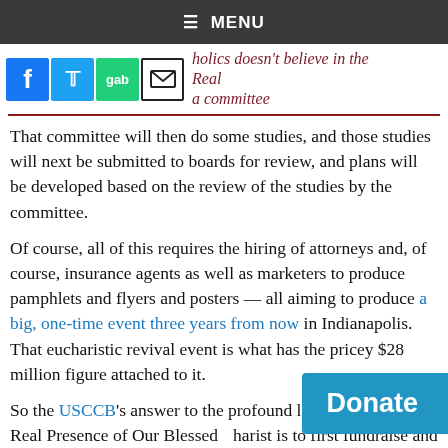≡ MENU
[Figure (other): Social share icons: Facebook (blue), Twitter (blue bird), Gab (green), Email (envelope); partial article title text visible: 'holics doesn't believe in the Real ... a committee']
That committee will then do some studies, and those studies will next be submitted to boards for review, and plans will be developed based on the review of the studies by the committee.
Of course, all of this requires the hiring of attorneys and, of course, insurance agents as well as marketers to produce pamphlets and flyers and posters — all aiming to produce a big, one-time event three years from now in Indianapolis. That eucharistic revival event is what has the pricey $28 million figure attached to it.
So the USCCB's answer to the profound loss of faith in the Real Presence of Our Blessed [Eu]charist is to first fundraise and then spen[d ... on] an
[Figure (other): Blue 'Donate' button overlay in bottom-right corner]